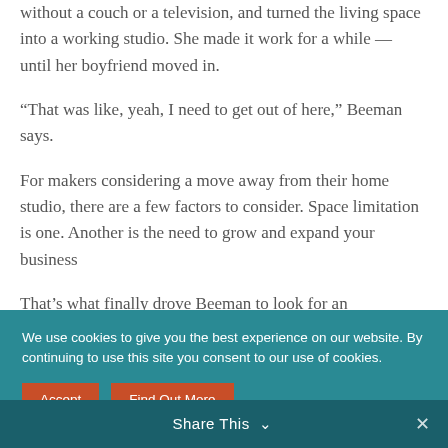without a couch or a television, and turned the living space into a working studio. She made it work for a while — until her boyfriend moved in.
“That was like, yeah, I need to get out of here,” Beeman says.
For makers considering a move away from their home studio, there are a few factors to consider. Space limitation is one. Another is the need to grow and expand your business
That’s what finally drove Beeman to look for an
We use cookies to give you the best experience on our website. By continuing to use this site you consent to our use of cookies.
Accept
Find Out More
Share This ∨
✕